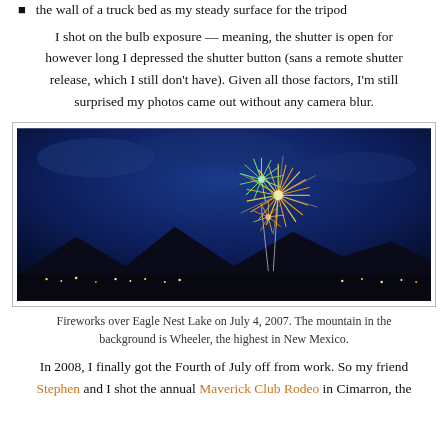the wall of a truck bed as my steady surface for the tripod
I shot on the bulb exposure — meaning, the shutter is open for however long I depressed the shutter button (sans a remote shutter release, which I still don't have). Given all those factors, I'm still surprised my photos came out without any camera blur.
[Figure (photo): Fireworks over Eagle Nest Lake at night with mountain silhouette in background, July 4 2007]
Fireworks over Eagle Nest Lake on July 4, 2007. The mountain in the background is Wheeler, the highest in New Mexico.
In 2008, I finally got the Fourth of July off from work. So my friend Stephen and I shot the annual Maverick Club Rodeo in Cimarron, the